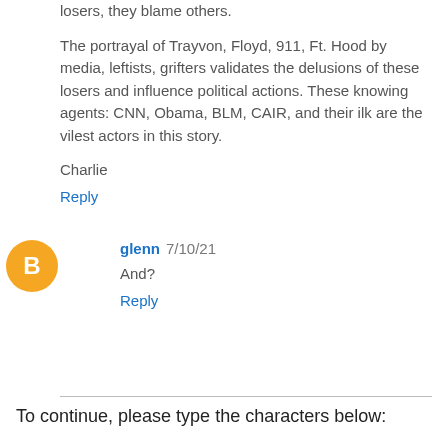losers, they blame others.
The portrayal of Trayvon, Floyd, 911, Ft. Hood by media, leftists, grifters validates the delusions of these losers and influence political actions. These knowing agents: CNN, Obama, BLM, CAIR, and their ilk are the vilest actors in this story.
Charlie
Reply
[Figure (illustration): Orange circular avatar with white blogger 'B' icon]
glenn 7/10/21
And?
Reply
To continue, please type the characters below: